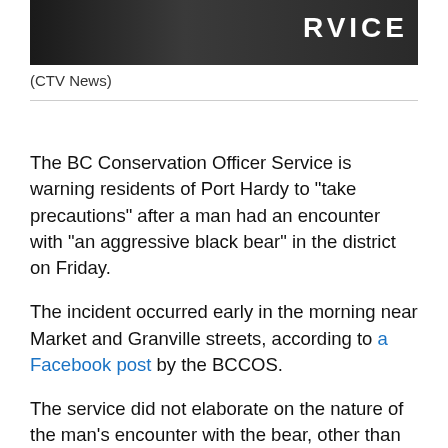[Figure (photo): Dark/black jacket or vest with 'SERVICE' text visible in white letters at the top right]
(CTV News)
The BC Conservation Officer Service is warning residents of Port Hardy to "take precautions" after a man had an encounter with "an aggressive black bear" in the district on Friday.
The incident occurred early in the morning near Market and Granville streets, according to a Facebook post by the BCCOS.
The service did not elaborate on the nature of the man's encounter with the bear, other than to